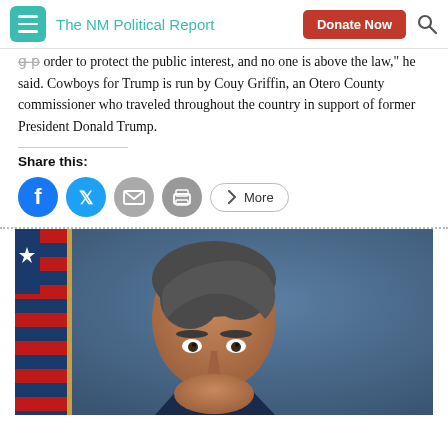The NM Political Report
order to protect the public interest, and no one is above the law," he said. Cowboys for Trump is run by Couy Griffin, an Otero County commissioner who traveled throughout the country in support of former President Donald Trump.
Share this:
[Figure (screenshot): Social share buttons: Facebook, Twitter, Email, Print, More]
[Figure (photo): Portrait photograph of a person in front of a US flag, blue background, cropped at forehead and chin]